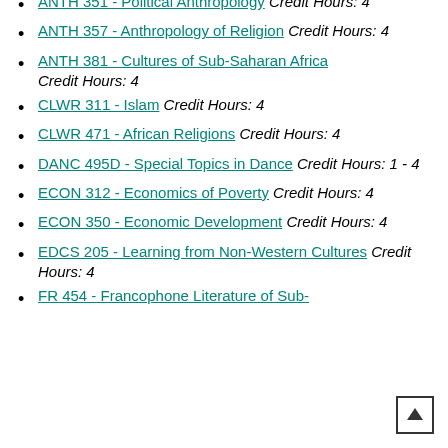ANTH 351 - Political Anthropology Credit Hours: 4
ANTH 357 - Anthropology of Religion Credit Hours: 4
ANTH 381 - Cultures of Sub-Saharan Africa Credit Hours: 4
CLWR 311 - Islam Credit Hours: 4
CLWR 471 - African Religions Credit Hours: 4
DANC 495D - Special Topics in Dance Credit Hours: 1 - 4
ECON 312 - Economics of Poverty Credit Hours: 4
ECON 350 - Economic Development Credit Hours: 4
EDCS 205 - Learning from Non-Western Cultures Credit Hours: 4
FR 454 - Francophone Literature of Sub-...